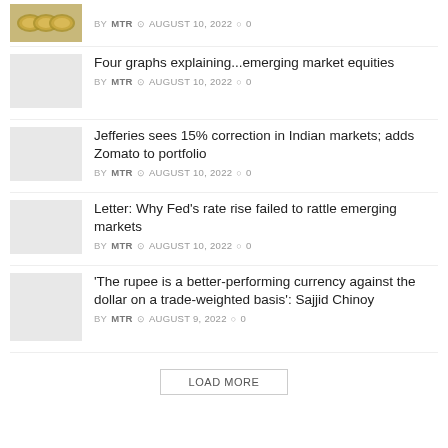[Figure (photo): Thumbnail image of gold coins/tokens at top]
BY MTR  AUGUST 10, 2022  0
Four graphs explaining...emerging market equities
BY MTR  AUGUST 10, 2022  0
Jefferies sees 15% correction in Indian markets; adds Zomato to portfolio
BY MTR  AUGUST 10, 2022  0
Letter: Why Fed's rate rise failed to rattle emerging markets
BY MTR  AUGUST 10, 2022  0
'The rupee is a better-performing currency against the dollar on a trade-weighted basis': Sajjid Chinoy
BY MTR  AUGUST 9, 2022  0
LOAD MORE